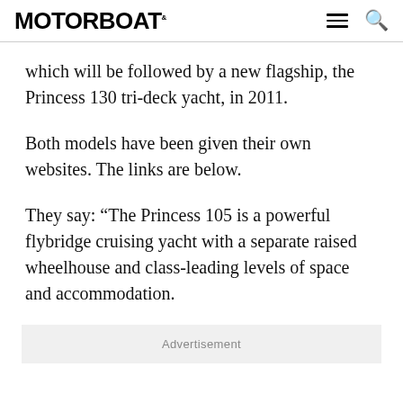MOTORBOAT
which will be followed by a new flagship, the Princess 130 tri-deck yacht, in 2011.
Both models have been given their own websites. The links are below.
They say: “The Princess 105 is a powerful flybridge cruising yacht with a separate raised wheelhouse and class-leading levels of space and accommodation.
Advertisement